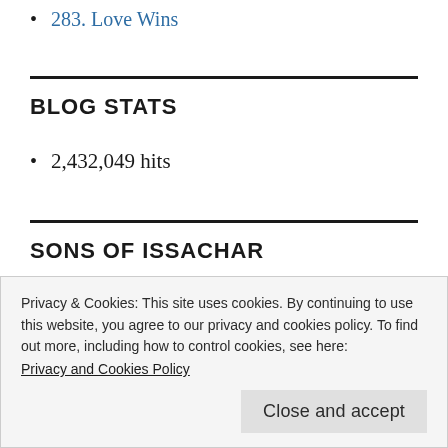283. Love Wins
BLOG STATS
2,432,049 hits
SONS OF ISSACHAR
Privacy & Cookies: This site uses cookies. By continuing to use this website, you agree to our privacy and cookies policy. To find out more, including how to control cookies, see here: Privacy and Cookies Policy
Close and accept
copyright. All rights reserved.